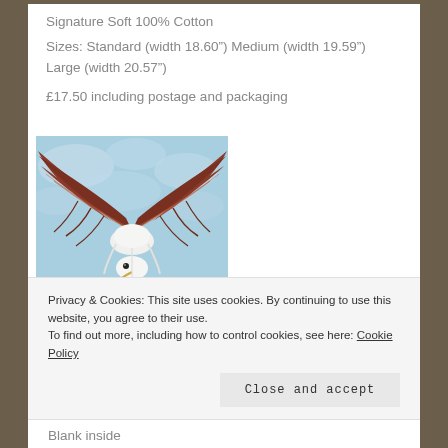Signature Soft 100% Cotton
Sizes: Standard (width 18.60") Medium (width 19.59") Large (width 20.57")
£17.50 including postage and packaging
[Figure (illustration): Illustration of a seagull in flight viewed from below/behind against a blue sky background, showing brown/red wings spread wide.]
Privacy & Cookies: This site uses cookies. By continuing to use this website, you agree to their use.
To find out more, including how to control cookies, see here: Cookie Policy
Close and accept
Blank inside